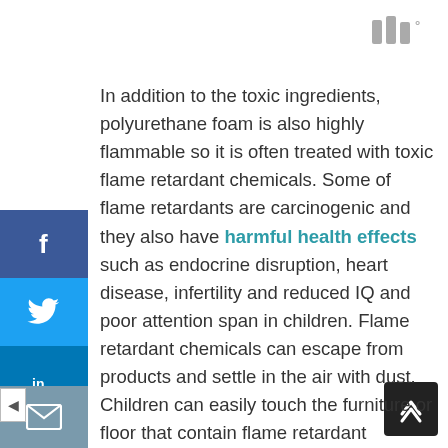[Figure (logo): Three vertical bars logo icon in gray, top-right corner]
In addition to the toxic ingredients, polyurethane foam is also highly flammable so it is often treated with toxic flame retardant chemicals. Some of flame retardants are carcinogenic and they also have harmful health effects such as endocrine disruption, heart disease, infertility and reduced IQ and poor attention span in children. Flame retardant chemicals can escape from products and settle in the air with dust. Children can easily touch the furniture or floor that contain flame retardant chemicals, put their hands in their mouth and ingest them. You can avoid polyurethane foam by choosing a high chair with no foam padding.
[Figure (infographic): Social media sharing sidebar with Facebook, Twitter, LinkedIn, Pinterest, Reddit, Mix, and Email buttons on the left side of the page]